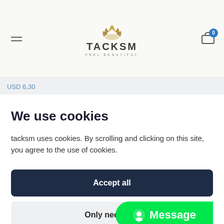[Figure (logo): TACKSM logo with lotus flower icon and tagline FEEL BEAUTIFUL]
USD 6,30
We use cookies
tacksm uses cookies. By scrolling and clicking on this site, you agree to the use of cookies.
Accept all
Only necessar
[Figure (other): Green Message chat button overlay in bottom right corner]